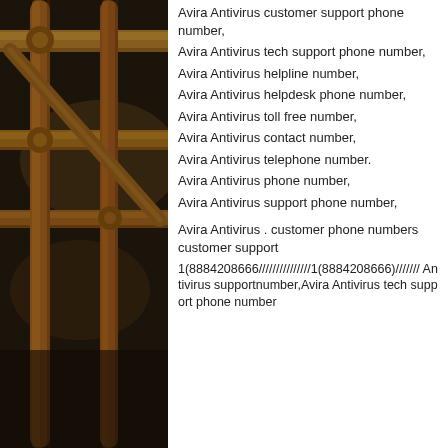[Figure (photo): Background image showing yellow/orange metal pipes or scaffolding in a dark industrial setting]
Avira Antivirus customer support phone number,
Avira Antivirus tech support phone number,
Avira Antivirus helpline number,
Avira Antivirus helpdesk phone number,
Avira Antivirus toll free number,
Avira Antivirus contact number,
Avira Antivirus telephone number.
Avira Antivirus phone number,
Avira Antivirus support phone number,
Avira Antivirus . customer phone numbers customer support
1(8884208666///////////////1(8884208666)/////// Antivirus supportnumber,Avira Antivirus tech support phone number